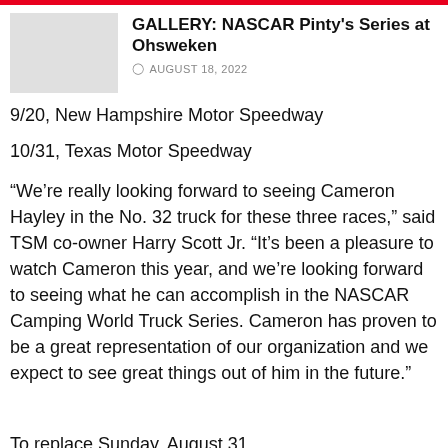[Figure (photo): Thumbnail image placeholder for NASCAR Pinty's Series at Ohsweken gallery]
GALLERY: NASCAR Pinty's Series at Ohsweken
AUGUST 18, 2022
9/20, New Hampshire Motor Speedway
10/31, Texas Motor Speedway
“We’re really looking forward to seeing Cameron Hayley in the No. 32 truck for these three races,” said TSM co-owner Harry Scott Jr. “It’s been a pleasure to watch Cameron this year, and we’re looking forward to seeing what he can accomplish in the NASCAR Camping World Truck Series. Cameron has proven to be a great representation of our organization and we expect to see great things out of him in the future.”
To replace Sunday, August 31...